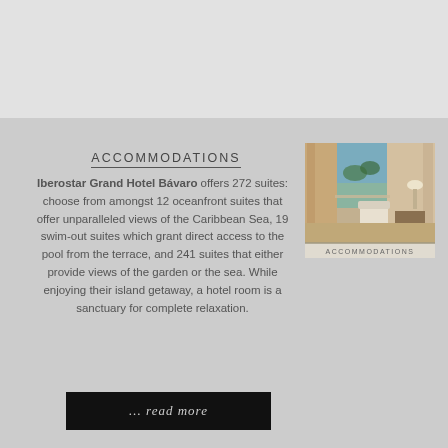ACCOMMODATIONS
Iberostar Grand Hotel Bávaro offers 272 suites: choose from amongst 12 oceanfront suites that offer unparalleled views of the Caribbean Sea, 19 swim-out suites which grant direct access to the pool from the terrace, and 241 suites that either provide views of the garden or the sea. While enjoying their island getaway, a hotel room is a sanctuary for complete relaxation.
[Figure (photo): Interior photo of Iberostar Grand Hotel Bávaro hotel room with ocean view balcony, curtains, armchairs, and elegant furnishings. Caption reads ACCOMMODATIONS.]
... read more